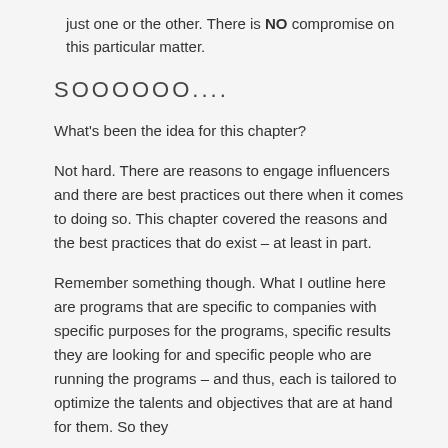just one or the other. There is NO compromise on this particular matter.
SOOOOOO....
What's been the idea for this chapter?
Not hard. There are reasons to engage influencers and there are best practices out there when it comes to doing so. This chapter covered the reasons and the best practices that do exist – at least in part.
Remember something though. What I outline here are programs that are specific to companies with specific purposes for the programs, specific results they are looking for and specific people who are running the programs – and thus, each is tailored to optimize the talents and objectives that are at hand for them. So they